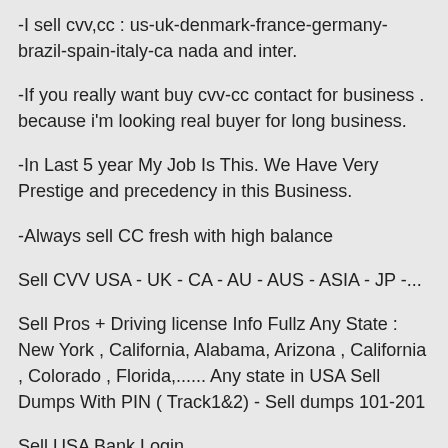-I sell cvv,cc : us-uk-denmark-france-germany-brazil-spain-italy-ca nada and inter.
-If you really want buy cvv-cc contact for business . because i'm looking real buyer for long business.
-In Last 5 year My Job Is This. We Have Very Prestige and precedency in this Business.
-Always sell CC fresh with high balance
Sell CVV USA - UK - CA - AU - AUS - ASIA - JP -...
Sell Pros + Driving license Info Fullz Any State : New York , California, Alabama, Arizona , California , Colorado , Florida,...... Any state in USA Sell Dumps With PIN ( Track1&2) - Sell dumps 101-201
Sell USA Bank Login
Sell Paypal Login With Balance